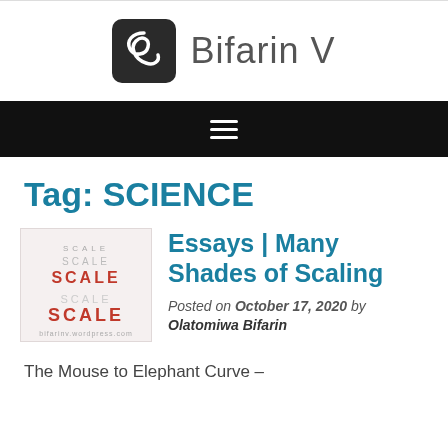Bifarin V
[Figure (logo): Bifarin V website logo with dark rounded square icon containing a swirl/wave symbol and site name text]
[Figure (other): Black navigation bar with hamburger menu icon (three horizontal white lines)]
Tag: SCIENCE
[Figure (other): Thumbnail image for 'Essays | Many Shades of Scaling' article showing typographic design with the word SCALE repeated in various sizes and colors on light background]
Essays | Many Shades of Scaling
Posted on October 17, 2020 by Olatomiwa Bifarin
The Mouse to Elephant Curve –